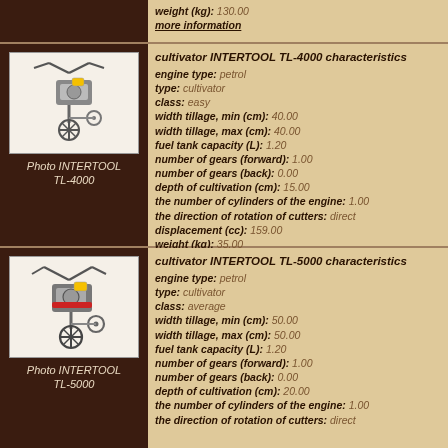weight (kg): 130.00
more information
[Figure (photo): Photo of INTERTOOL TL-4000 cultivator]
Photo INTERTOOL TL-4000
cultivator INTERTOOL TL-4000 characteristics engine type: petrol type: cultivator class: easy width tillage, min (cm): 40.00 width tillage, max (cm): 40.00 fuel tank capacity (L): 1.20 number of gears (forward): 1.00 number of gears (back): 0.00 depth of cultivation (cm): 15.00 the number of cylinders of the engine: 1.00 the direction of rotation of cutters: direct displacement (cc): 159.00 weight (kg): 35.00 more information
[Figure (photo): Photo of INTERTOOL TL-5000 cultivator]
Photo INTERTOOL TL-5000
cultivator INTERTOOL TL-5000 characteristics engine type: petrol type: cultivator class: average width tillage, min (cm): 50.00 width tillage, max (cm): 50.00 fuel tank capacity (L): 1.20 number of gears (forward): 1.00 number of gears (back): 0.00 depth of cultivation (cm): 20.00 the number of cylinders of the engine: 1.00 the direction of rotation of cutters: direct